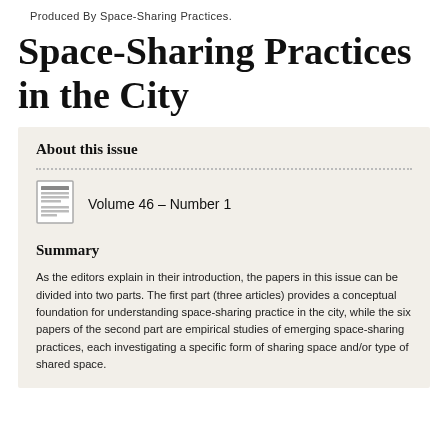Produced By Space-Sharing Practices.
Space-Sharing Practices in the City
About this issue
Volume 46 – Number 1
Summary
As the editors explain in their introduction, the papers in this issue can be divided into two parts. The first part (three articles) provides a conceptual foundation for understanding space-sharing practice in the city, while the six papers of the second part are empirical studies of emerging space-sharing practices, each investigating a specific form of sharing space and/or type of shared space.